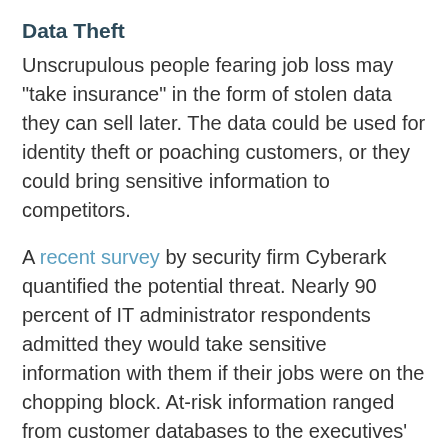Data Theft
Unscrupulous people fearing job loss may "take insurance" in the form of stolen data they can sell later. The data could be used for identity theft or poaching customers, or they could bring sensitive information to competitors.
A recent survey by security firm Cyberark quantified the potential threat. Nearly 90 percent of IT administrator respondents admitted they would take sensitive information with them if their jobs were on the chopping block. At-risk information ranged from customer databases to the executives' personal information. More than 33 percent said they would take the password list granting access to sensitive information, such as